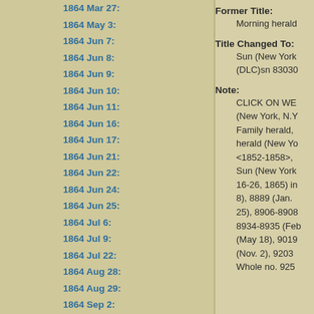1864 Mar 27:
1864 May 3:
1864 Jun 7:
1864 Jun 8:
1864 Jun 9:
1864 Jun 10:
1864 Jun 11:
1864 Jun 16:
1864 Jun 17:
1864 Jun 21:
1864 Jun 22:
1864 Jun 24:
1864 Jun 25:
1864 Jul 6:
1864 Jul 9:
1864 Jul 22:
1864 Aug 28:
1864 Aug 29:
1864 Sep 2:
1864 Sep 6:
Former Title:
Morning herald
Title Changed To:
Sun (New York
(DLC)sn 83030
Note:
CLICK ON WE
(New York, N.Y
Family herald,
herald (New Yo
<1852-1858>,
Sun (New York
16-26, 1865) in
8), 8889 (Jan.
25), 8906-8908
8934-8935 (Feb
(May 18), 9019
(Nov. 2), 9203
Whole no. 925